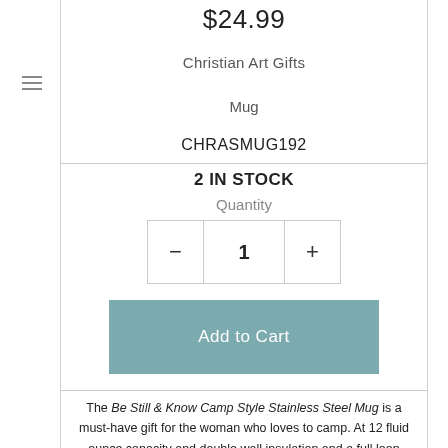$24.99
Christian Art Gifts
Mug
CHRASMUG192
2 IN STOCK
Quantity
Add to Cart
The Be Still & Know Camp Style Stainless Steel Mug is a must-have gift for the woman who loves to camp. At 12 fluid ounce capacity and double wall insulation and a full loop handle, this stainless steel mug can take anything the rugged outdoors throws at it.